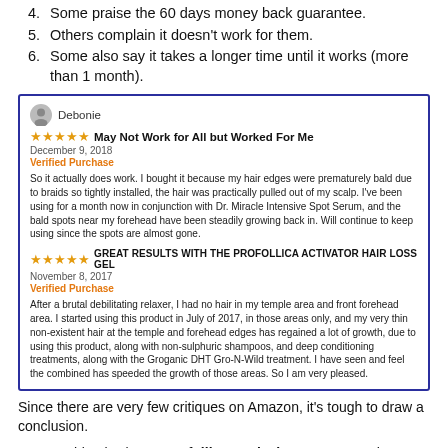4. Some praise the 60 days money back guarantee.
5. Others complain it doesn't work for them.
6. Some also say it takes a longer time until it works (more than 1 month).
[Figure (other): Amazon customer review box with two reviews. Review 1 by Debonie, 5 stars, 'May Not Work for All but Worked For Me', December 9, 2018, Verified Purchase. Review 2, 5 stars, 'GREAT RESULTS WITH THE PROFOLLICA ACTIVATOR HAIR LOSS GEL', November 8, 2017, Verified Purchase.]
Since there are very few critiques on Amazon, it's tough to draw a conclusion.
But one thing is clear – Profollica works in most cases, however it may take greater than two months (as they claim).
So there...